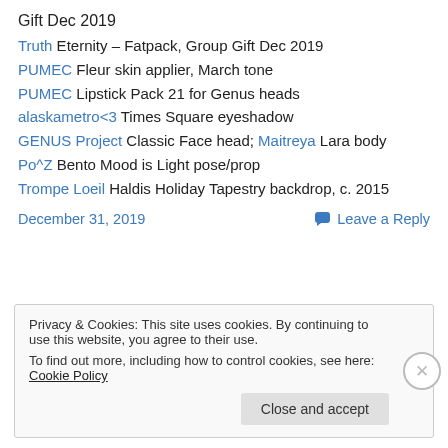Gift Dec 2019
Truth Eternity – Fatpack, Group Gift Dec 2019
PUMEC Fleur skin applier, March tone
PUMEC Lipstick Pack 21 for Genus heads
alaskametro<3 Times Square eyeshadow
GENUS Project Classic Face head; Maitreya Lara body
Po^Z Bento Mood is Light pose/prop
Trompe Loeil Haldis Holiday Tapestry backdrop, c. 2015
December 31, 2019   Leave a Reply
Privacy & Cookies: This site uses cookies. By continuing to use this website, you agree to their use. To find out more, including how to control cookies, see here: Cookie Policy
Close and accept